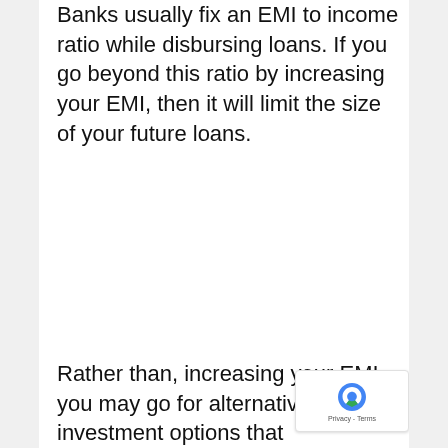Banks usually fix an EMI to income ratio while disbursing loans. If you go beyond this ratio by increasing your EMI, then it will limit the size of your future loans.
Rather than, increasing your EMI, you may go for alternative investment options that